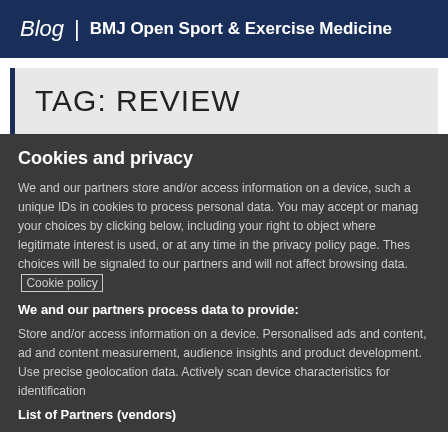Blog | BMJ Open Sport & Exercise Medicine
TAG: REVIEW
Cookies and privacy
We and our partners store and/or access information on a device, such as unique IDs in cookies to process personal data. You may accept or manage your choices by clicking below, including your right to object where legitimate interest is used, or at any time in the privacy policy page. These choices will be signaled to our partners and will not affect browsing data. Cookie policy
We and our partners process data to provide:
Store and/or access information on a device. Personalised ads and content, ad and content measurement, audience insights and product development. Use precise geolocation data. Actively scan device characteristics for identification
List of Partners (vendors)